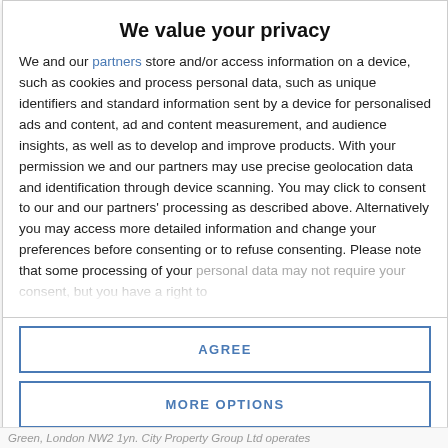We value your privacy
We and our partners store and/or access information on a device, such as cookies and process personal data, such as unique identifiers and standard information sent by a device for personalised ads and content, ad and content measurement, and audience insights, as well as to develop and improve products. With your permission we and our partners may use precise geolocation data and identification through device scanning. You may click to consent to our and our partners' processing as described above. Alternatively you may access more detailed information and change your preferences before consenting or to refuse consenting. Please note that some processing of your personal data may not require your consent, but you have a right to
AGREE
MORE OPTIONS
Green, London NW2 1yn. City Property Group Ltd operates